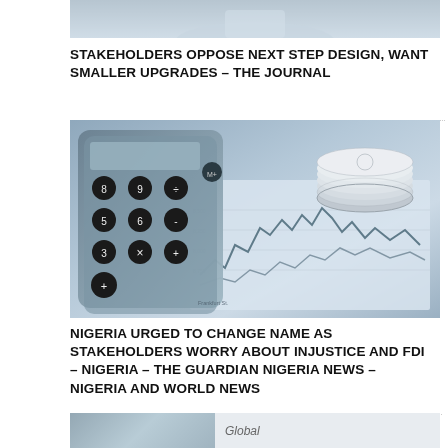[Figure (photo): Partial view of a person in a shirt, cropped at top of page]
STAKEHOLDERS OPPOSE NEXT STEP DESIGN, WANT SMALLER UPGRADES – THE JOURNAL
[Figure (photo): Close-up photo of a calculator, financial charts with line graphs, and stacked silver coins on a desk, in blue-gray monochrome tones]
NIGERIA URGED TO CHANGE NAME AS STAKEHOLDERS WORRY ABOUT INJUSTICE AND FDI – NIGERIA – THE GUARDIAN NIGERIA NEWS – NIGERIA AND WORLD NEWS
[Figure (photo): Partial thumbnail image at bottom with text 'Global']